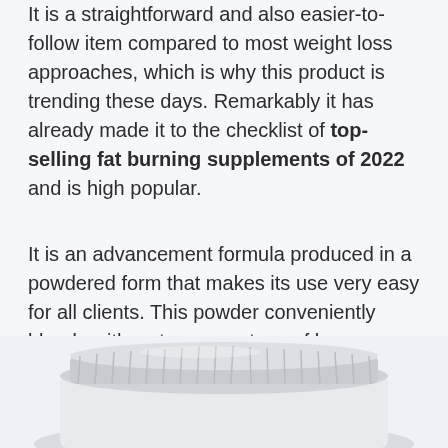It is a straightforward and also easier-to-follow item compared to most weight loss approaches, which is why this product is trending these days. Remarkably it has already made it to the checklist of top-selling fat burning supplements of 2022 and is high popular.
It is an advancement formula produced in a powdered form that makes its use very easy for all clients. This powder conveniently blends with water or any type of beverage of your selection. As soon as inside the body, it activates an all-natural fat melt and also healthy and balanced fat burning, no matter what is the weight of a person.
[Figure (photo): Bottom portion of a white supplement product container with ribbed/ridged cap visible]